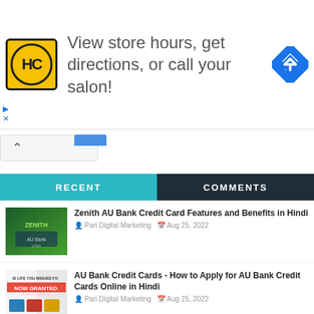[Figure (infographic): Advertisement banner: HC logo on yellow, text 'View store hours, get directions, or call your salon!', blue diamond navigation icon on right]
RECENT | COMMENTS
Zenith AU Bank Credit Card Features and Benefits in Hindi — Pari Digital Marketing — Aug 25, 2022
AU Bank Credit Cards - How to Apply for AU Bank Credit Cards Online in Hindi — Pari Digital Marketing — Aug 25, 2022
ॐ भद्रं कर्णेभिः श्रृणुयाम - Om Bhadram Karnnebhih Shrnnuyaama Devaah Mantra Meaning in Hindi — Pari Digital Marketing — Aug 24, 2022